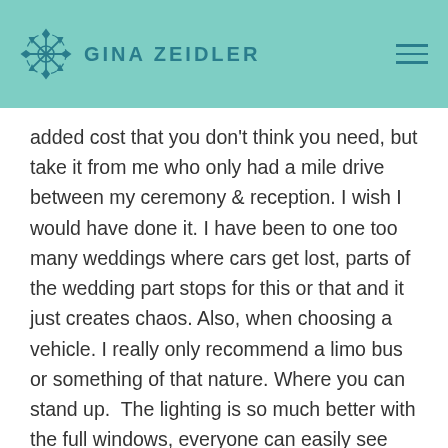GINA ZEIDLER
added cost that you don't think you need, but take it from me who only had a mile drive between my ceremony & reception. I wish I would have done it. I have been to one too many weddings where cars get lost, parts of the wedding part stops for this or that and it just creates chaos. Also, when choosing a vehicle. I really only recommend a limo bus or something of that nature. Where you can stand up.  The lighting is so much better with the full windows, everyone can easily see each other and move around. Lastly I believe that it gets overlooked how hard it is for the bride and her maids to